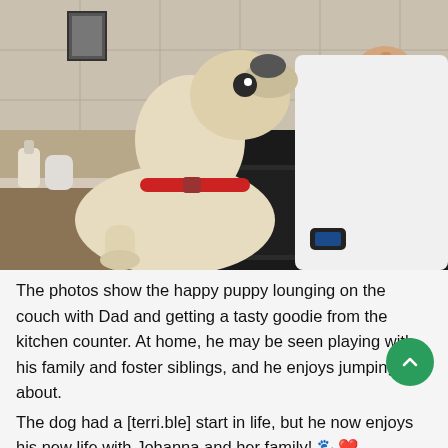[Figure (photo): A light-colored dog with a red collar reaches up toward a person's hand holding a treat, in a kitchen setting. The person is wearing a white tank top and a dark smartwatch.]
The photos show the happy puppy lounging on the couch with Dad and getting a tasty goodie from the kitchen counter. At home, he may be seen playing with his family and foster siblings, and he enjoys jumping about.
The dog had a [terri.ble] start in life, but he now enjoys his new life with Johanna and her family! 🐾❤️